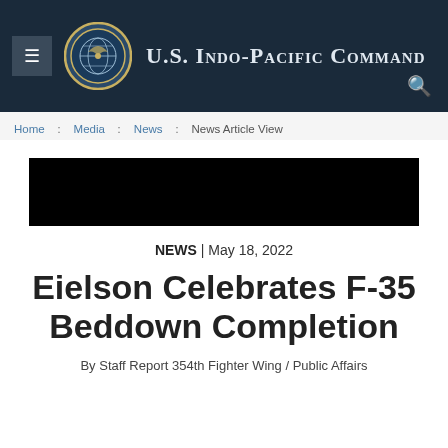U.S. Indo-Pacific Command
Home : Media : News : News Article View
[Figure (photo): Black redacted header image banner]
NEWS | May 18, 2022
Eielson Celebrates F-35 Beddown Completion
By Staff Report 354th Fighter Wing / Public Affairs